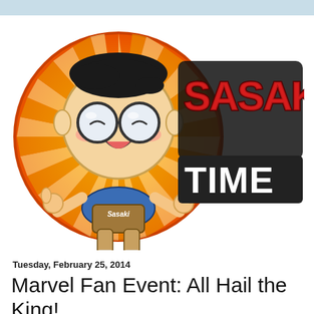[Figure (logo): Sasaki Time logo: cartoon chibi-style boy with big round glasses, wearing a blue shirt labeled 'Sasaki', giving two thumbs up, set against an orange sunburst circle on the left. On the right, the text 'SASAKI' in large red comic-style letters and 'TIME' in white bold letters on a dark background.]
Tuesday, February 25, 2014
Marvel Fan Event: All Hail the King!